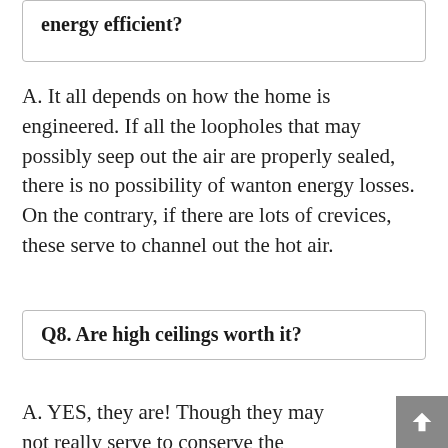energy efficient?
A. It all depends on how the home is engineered. If all the loopholes that may possibly seep out the air are properly sealed, there is no possibility of wanton energy losses. On the contrary, if there are lots of crevices, these serve to channel out the hot air.
Q8. Are high ceilings worth it?
A. YES, they are! Though they may not really serve to conserve the energy, they